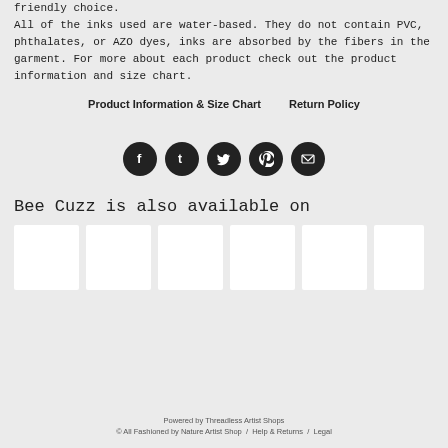friendly choice.
All of the inks used are water-based. They do not contain PVC, phthalates, or AZO dyes, inks are absorbed by the fibers in the garment. For more about each product check out the product information and size chart.
Product Information & Size Chart    Return Policy
[Figure (infographic): Row of 5 social media icon buttons (Facebook, Tumblr, Twitter, Pinterest, Email) as dark circular icons]
Bee Cuzz is also available on
[Figure (infographic): Row of 6 white thumbnail placeholder images for marketplace listings]
Powered by Threadless Artist Shops
© All Fashioned by Nature Artist Shop / Help & Returns / Legal